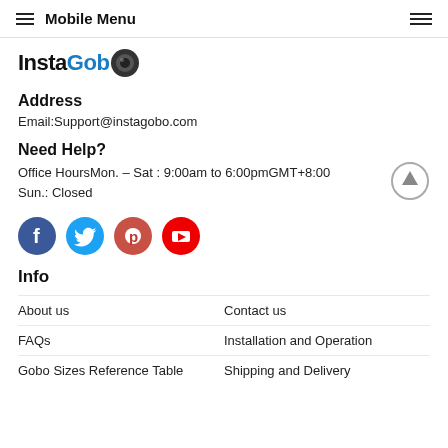Mobile Menu
[Figure (logo): InstaGobo logo with camera lens icon]
Address
Email:Support@instagobo.com
Need Help?
Office Hours Mon. – Sat : 9:00am to 6:00pm GMT+8:00 
Sun.: Closed
[Figure (illustration): Social media icons: Facebook, Twitter, Pinterest, YouTube]
Info
About us
Contact us
FAQs
Installation and Operation
Gobo Sizes Reference Table
Shipping and Delivery